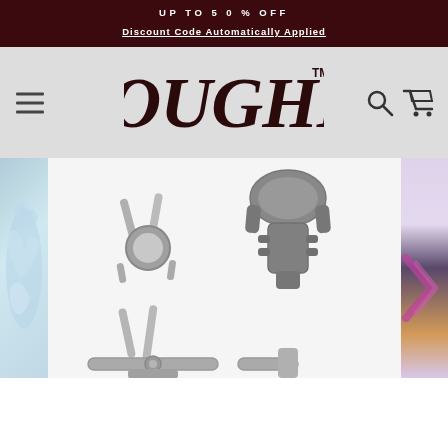UP TO 50% OFF
Discount Code Automatically Applied
[Figure (logo): TOUGHM brand logo in dark brushstroke lettering with TM mark]
[Figure (photo): Car phone mount holders — multiple silver metal and grey plastic phone holders/cradles shown against a white background, with partial water splash image on the left and a blurred colorful image on the right]